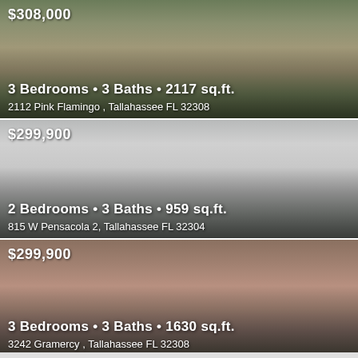[Figure (photo): Exterior photo of a brick house with garage and trees in background]
$308,000
3 Bedrooms • 3 Baths • 2117 sq.ft.
2112 Pink Flamingo , Tallahassee FL 32308
[Figure (photo): Exterior photo of a white multi-story building with parking lot]
$299,900
2 Bedrooms • 3 Baths • 959 sq.ft.
815 W Pensacola 2, Tallahassee FL 32304
[Figure (photo): Exterior photo of a brick townhouse with white garage door and landscaping]
$299,900
3 Bedrooms • 3 Baths • 1630 sq.ft.
3242 Gramercy , Tallahassee FL 32308